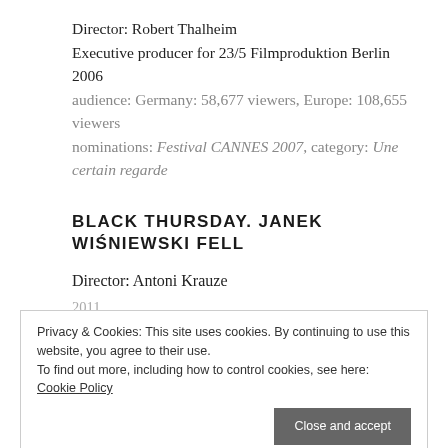Director: Robert Thalheim
Executive producer for 23/5 Filmproduktion Berlin 2006
audience: Germany: 58,677 viewers, Europe: 108,655 viewers
nominations: Festival CANNES 2007, category: Une certain regarde
BLACK THURSDAY. JANEK WIŚNIEWSKI FELL
Director: Antoni Krauze
2011
audience: over 1,500,000 viewers
emissions: 24 in CANAL+, TVP
awards:
– 2011 36. Gdynia Film Festival, Poland, Special Jury Award: Antoni Krauze
Privacy & Cookies: This site uses cookies. By continuing to use this website, you agree to their use. To find out more, including how to control cookies, see here: Cookie Policy
Close and accept